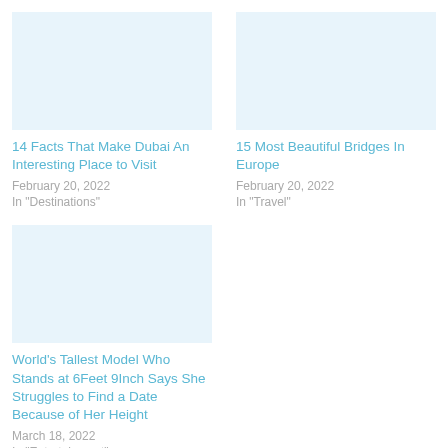[Figure (photo): Placeholder image for Dubai article]
14 Facts That Make Dubai An Interesting Place to Visit
February 20, 2022
In "Destinations"
[Figure (photo): Placeholder image for Bridges article]
15 Most Beautiful Bridges In Europe
February 20, 2022
In "Travel"
[Figure (photo): Placeholder image for World's Tallest Model article]
World’s Tallest Model Who Stands at 6Feet 9Inch Says She Struggles to Find a Date Because of Her Height
March 18, 2022
In "Entertainment"